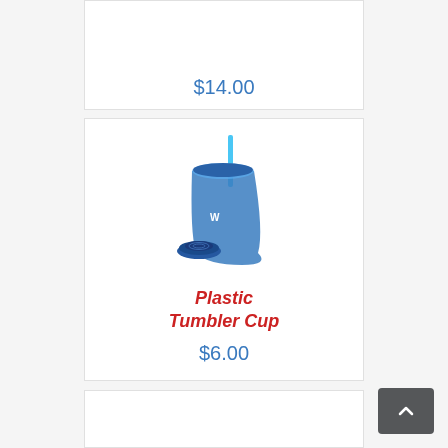$14.00
[Figure (photo): Blue plastic tumbler cup with straw and lid]
Plastic Tumbler Cup
$6.00
[Figure (photo): Stainless steel water bottle with W logo]